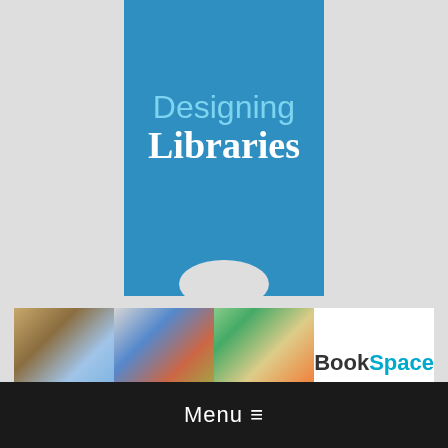[Figure (logo): Designing Libraries bookmark-shaped logo with blue background, light blue 'Designing' text and white bold serif 'Libraries' text, with a book-page notch at the bottom]
[Figure (photo): Strip of three library interior photos showing colorful children's library spaces with shelving, reading areas, and play elements, followed by a white BookSpace logo panel]
Search
GO
Menu ≡